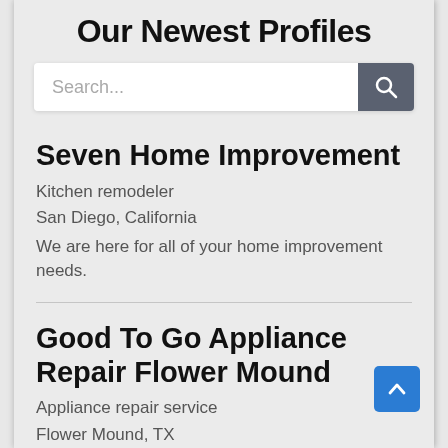Our Newest Profiles
[Figure (screenshot): Search bar with text input placeholder 'Search...' and a dark grey search button with magnifying glass icon]
Seven Home Improvement
Kitchen remodeler
San Diego, California
We are here for all of your home improvement needs.
Good To Go Appliance Repair Flower Mound
Appliance repair service
Flower Mound, TX